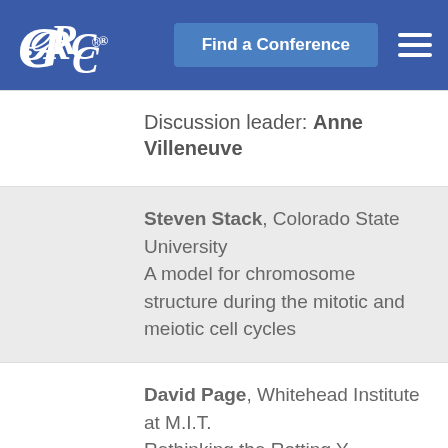GRC® — Find a Conference
Discussion leader: Anne Villeneuve
Steven Stack, Colorado State University — A model for chromosome structure during the mitotic and meiotic cell cycles
David Page, Whitehead Institute at M.I.T. — Rethinking the Rotting Y Chromosome
Patrick Shi..., Stanford...